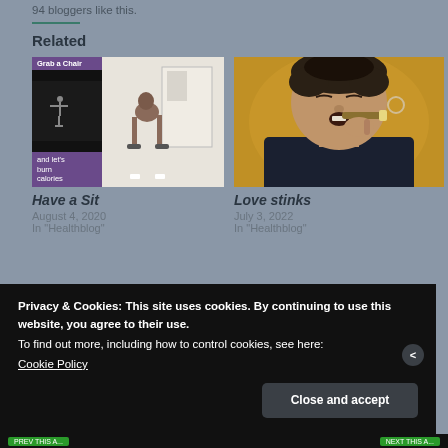94 bloggers like this.
Related
[Figure (photo): Left: composite image with gym/fitness theme, dark panel with purple tags 'Grab a Chair' and 'and let's burn calories', right panel showing woman lifting weights]
Have a Sit
August 4, 2020
In "Healthblog"
[Figure (photo): Painting of a man smoking a cigar, dark expressionist style on golden/brown background]
Love stinks
July 3, 2022
In "Healthblog"
Privacy & Cookies: This site uses cookies. By continuing to use this website, you agree to their use.
To find out more, including how to control cookies, see here:
Cookie Policy